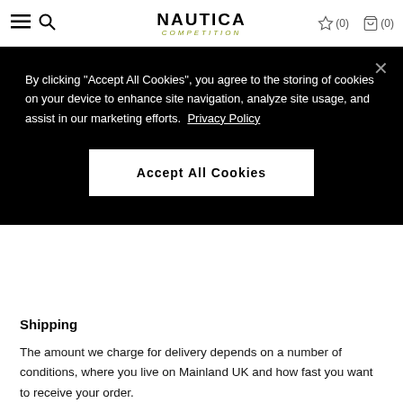NAUTICA COMPETITION — navigation bar with hamburger menu, search, wishlist (0), cart (0)
[Figure (screenshot): Cookie consent banner overlay on black background with close button (×), text about cookies, and Accept All Cookies button]
Shipping
The amount we charge for delivery depends on a number of conditions, where you live on Mainland UK and how fast you want to receive your order.
Unfortunately, you cannot collect your order direct from our distribution centre.
UK Mainland